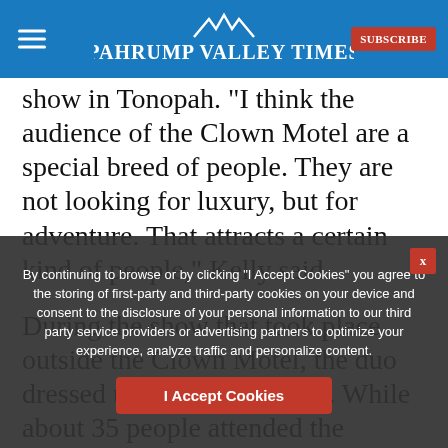Pahrump Valley Times
show in Tonopah. "I think the audience of the Clown Motel are a special breed of people. They are not looking for luxury, but for adventure. That attracts a certain kind of people," Kelly said.
During the show that took place outside the Clown Motel, the duo dressed up as rodeo clowns. While about 35 people attended the performance, about 5,000 people also live-streamed it online.
By continuing to browse or by clicking "I Accept Cookies" you agree to the storing of first-party and third-party cookies on your device and consent to the disclosure of your personal information to our third party service providers or advertising partners to optimize your experience, analyze traffic and personalize content.